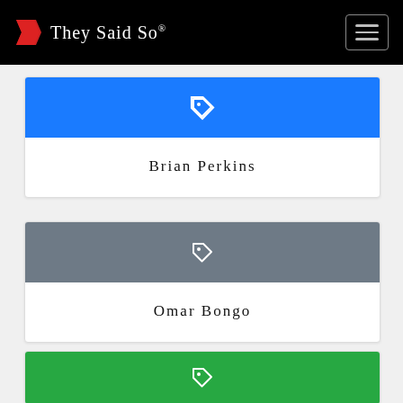They Said So®
Brian Perkins
Omar Bongo